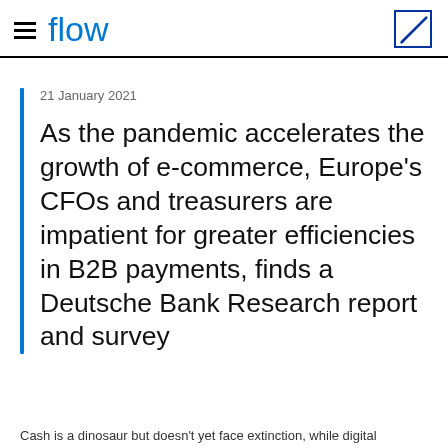flow
21 January 2021
As the pandemic accelerates the growth of e-commerce, Europe's CFOs and treasurers are impatient for greater efficiencies in B2B payments, finds a Deutsche Bank Research report and survey
Cash is a dinosaur but doesn't yet face extinction, while digital